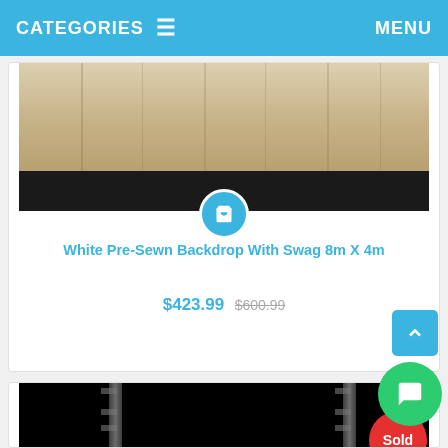CATEGORIES ≡   MENU
[Figure (photo): White pre-sewn backdrop with swag product image showing light wood/cream colored fabric with dark bottom bar, and a blue circular cart icon overlay]
White Pre-Sewn Backdrop With Swag 8m X 4m
$423.99 $600.99
[Figure (photo): Black backdrop on a white pipe-and-drape stand with two vertical white poles visible, with a red 'Sold' badge in top right corner]